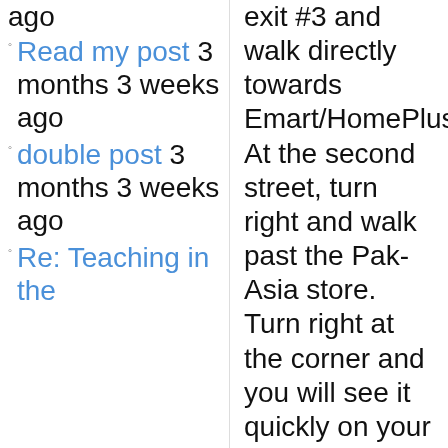ago
Read my post 3 months 3 weeks ago
double post 3 months 3 weeks ago
Re: Teaching in the
exit #3 and walk directly towards Emart/HomePlus. At the second street, turn right and walk past the Pak-Asia store. Turn right at the corner and you will see it quickly on your left.
The store has the largest variety of products from the largest number of countries. Featured products are from Sri Lanka, Nepal, India, Indonesia, Thailand, and Vietnam. They have International Calling Cards, DVD's, a large selection of grains, spices, snacks, sweets, canned foods, grains AND TORTILLAS as well as PITAS. Also, Hanoi Beer and TsingTao. Samosas and Indonesian honey.
6 inch tortillas, 3,000 won; 8 inch,